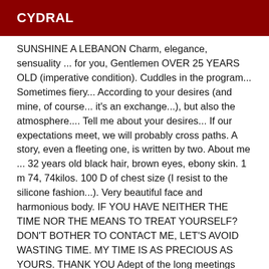CYDRAL
SUNSHINE A LEBANON Charm, elegance, sensuality ... for you, Gentlemen OVER 25 YEARS OLD (imperative condition). Cuddles in the program... Sometimes fiery... According to your desires (and mine, of course... it's an exchange...), but also the atmosphere.... Tell me about your desires... If our expectations meet, we will probably cross paths. A story, even a fleeting one, is written by two. About me ... 32 years old black hair, brown eyes, ebony skin. 1 m 74, 74kilos. 100 D of chest size (I resist to the silicone fashion...). Very beautiful face and harmonious body. IF YOU HAVE NEITHER THE TIME NOR THE MEANS TO TREAT YOURSELF? DON'T BOTHER TO CONTACT ME, LET'S AVOID WASTING TIME. MY TIME IS AS PRECIOUS AS YOURS. THANK YOU Adept of the long meetings (30MN is a minimum; I refuse the "rapidos" of 20 mns which do not correspond to my vision of the escorting) where the complicity, favourable with the shared pleasures, will have all